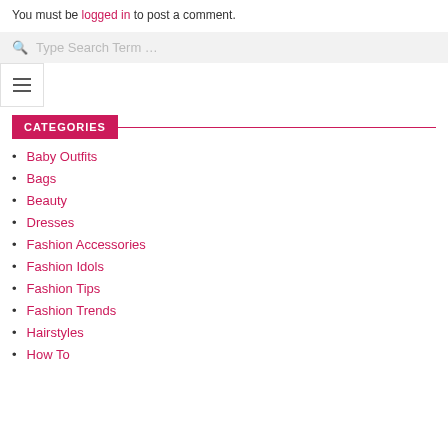You must be logged in to post a comment.
Type Search Term …
CATEGORIES
Baby Outfits
Bags
Beauty
Dresses
Fashion Accessories
Fashion Idols
Fashion Tips
Fashion Trends
Hairstyles
How To